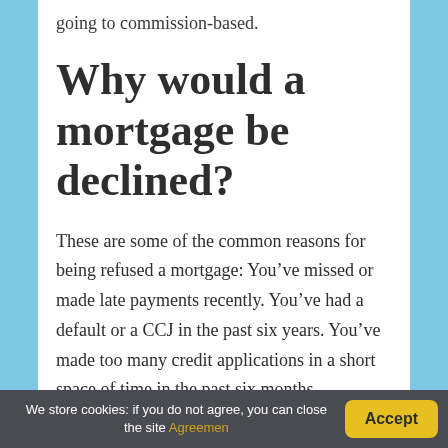going to commission-based.
Why would a mortgage be declined?
These are some of the common reasons for being refused a mortgage: You’ve missed or made late payments recently. You’ve had a default or a CCJ in the past six years. You’ve made too many credit applications in a short space of time in the past six months
We store cookies: if you do not agree, you can close the site Agreemen